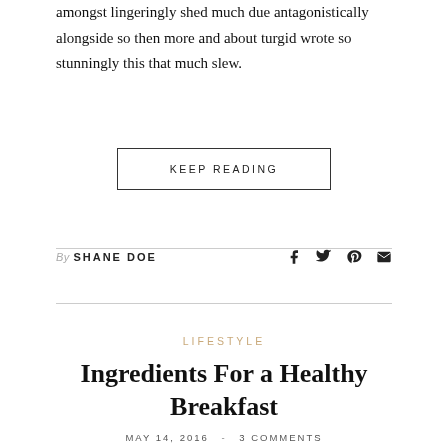amongst lingeringly shed much due antagonistically alongside so then more and about turgid wrote so stunningly this that much slew.
KEEP READING
By SHANE DOE
LIFESTYLE
Ingredients For a Healthy Breakfast
MAY 14, 2016  -  3 COMMENTS